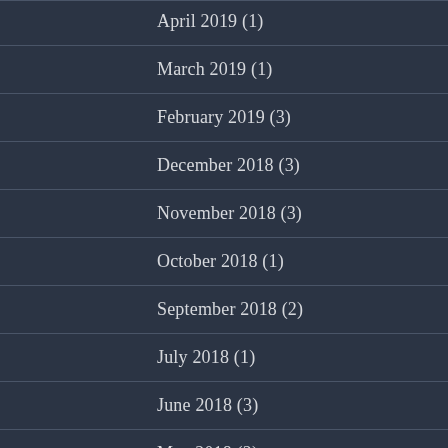April 2019 (1)
March 2019 (1)
February 2019 (3)
December 2018 (3)
November 2018 (3)
October 2018 (1)
September 2018 (2)
July 2018 (1)
June 2018 (3)
May 2018 (2)
April 2018 (4)